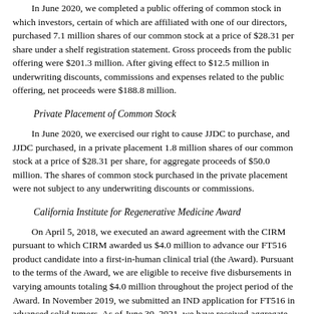In June 2020, we completed a public offering of common stock in which investors, certain of which are affiliated with one of our directors, purchased 7.1 million shares of our common stock at a price of $28.31 per share under a shelf registration statement. Gross proceeds from the public offering were $201.3 million. After giving effect to $12.5 million in underwriting discounts, commissions and expenses related to the public offering, net proceeds were $188.8 million.
Private Placement of Common Stock
In June 2020, we exercised our right to cause JJDC to purchase, and JJDC purchased, in a private placement 1.8 million shares of our common stock at a price of $28.31 per share, for aggregate proceeds of $50.0 million. The shares of common stock purchased in the private placement were not subject to any underwriting discounts or commissions.
California Institute for Regenerative Medicine Award
On April 5, 2018, we executed an award agreement with the CIRM pursuant to which CIRM awarded us $4.0 million to advance our FT516 product candidate into a first-in-human clinical trial (the Award). Pursuant to the terms of the Award, we are eligible to receive five disbursements in varying amounts totaling $4.0 million throughout the project period of the Award. In November 2019, we submitted an IND application for FT516 in advanced solid tumors. As of June 30, 2021, we have received aggregate disbursements under the Award in the amount of $4.0 million.
The Award is subject to certain co-funding requirements by us. We, in our sole discretion, have the option to treat the Award either as a loan or as a grant.